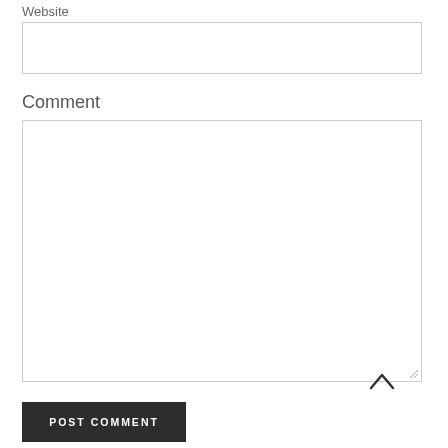Website
[Figure (other): Empty website input text field with border]
Comment
[Figure (other): Large empty comment textarea with border and resize handle]
POST COMMENT